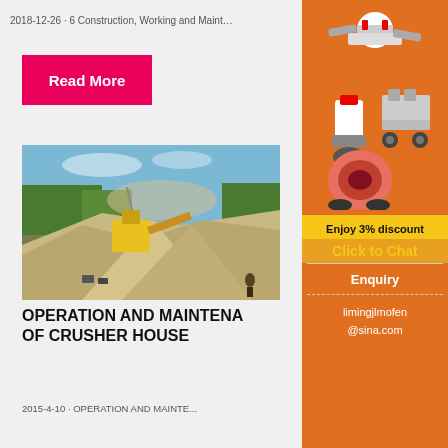2018-12-26 · 6 Construction, Working and Maint…
Read More
[Figure (photo): Outdoor quarry/crushing operation with yellow crushers and large sand/gravel mounds under blue sky]
OPERATION AND MAINTENANCE OF CRUSHER HOUSE
2015-4-10 · OPERATION AND MAINTENANCE...
[Figure (photo): Sidebar advertisement showing industrial crusher machines on orange background with '3% discount', 'Click to Chat', 'Enquiry', and 'limingjlmofen@sina.com']